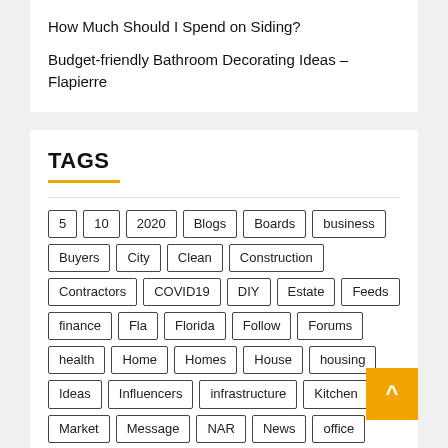How Much Should I Spend on Siding?
Budget-friendly Bathroom Decorating Ideas – Flapierre
TAGS
5, 10, 2020, Blogs, Boards, business, Buyers, City, Clean, Construction, Contractors, COVID19, DIY, Estate, Feeds, finance, Fla, Florida, Follow, Forums, health, Home, Homes, House, housing, Ideas, Influencers, infrastructure, Kitchen, Market, Message, NAR, News, office, Online, Plans, Podcasts, Project, projects, Property, RSS, Technology, Tips, Top